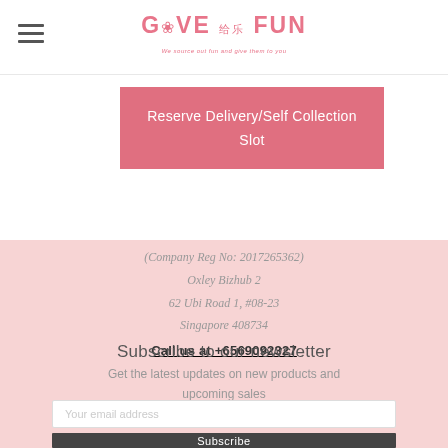GIVE FUN — We source out fun and give them to you
Reserve Delivery/Self Collection Slot
(Company Reg No: 2017265362)
Oxley Bizhub 2
62 Ubi Road 1, #08-23
Singapore 408734
Call us at +6569092327
Subscribe to our newsletter
Get the latest updates on new products and upcoming sales
Your email address
Subscribe